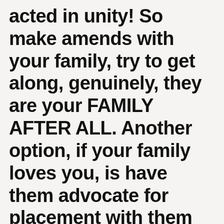acted in unity! So make amends with your family, try to get along, genuinely, they are your FAMILY AFTER ALL. Another option, if your family loves you, is have them advocate for placement with them and to pretend to be against you. Then they agree to adopt your child(ren), and